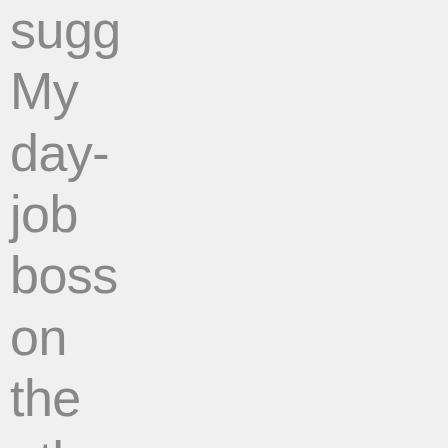sugg My day- job boss on the othe han expe a deta list on the